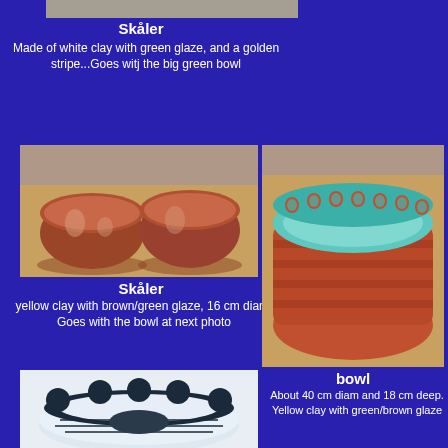[Figure (photo): Partial view of a ceramic bowl at the top]
Skåler
Made of white clay with green glaze, and a golden stripe...Goes witj the big green bowl
[Figure (photo): Two brown/red glazed bowls on wooden surface]
Skåler
yellow clay with brown/green glaze, 16 cm diam. Goes with the bowl at next photo
[Figure (photo): Large turquoise and brown/red glazed bowl viewed from above]
bowl
About 40 cm diam and 18 cm deep. Yellow clay with green/brown glaze
[Figure (photo): Blue and white patterned bowl viewed from above]
[Figure (photo): Small white ceramic bowls/egg shapes]